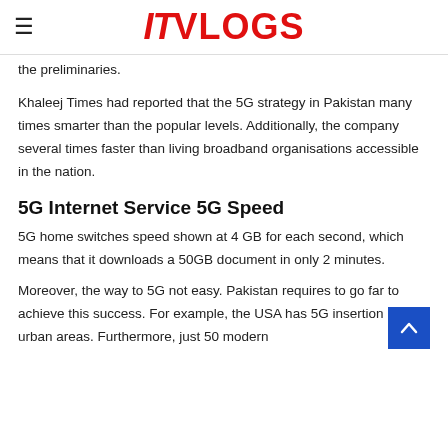IT VLOGS
the preliminaries.
Khaleej Times had reported that the 5G strategy in Pakistan many times smarter than the popular levels. Additionally, the company several times faster than living broadband organisations accessible in the nation.
5G Internet Service 5G Speed
5G home switches speed shown at 4 GB for each second, which means that it downloads a 50GB document in only 2 minutes.
Moreover, the way to 5G not easy. Pakistan requires to go far to achieve this success. For example, the USA has 5G insertion in 25 urban areas. Furthermore, just 50 modern